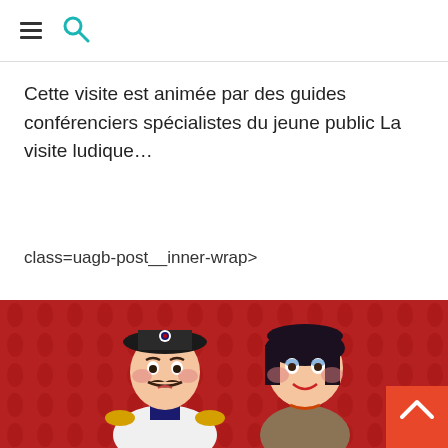☰ 🔍
Cette visite est animée par des guides conférenciers spécialistes du jeune public La visite ludique...
class=uagb-post__inner-wrap>
[Figure (photo): Two puppet/marionette figures against a red curtain background. Left puppet dressed as a Napoleonic-era military officer with a bicorne hat, mustache, and epaulettes. Right puppet is a female character with dark hair, rosy cheeks, and a smile.]